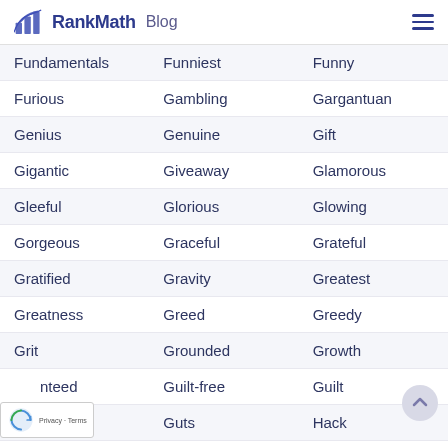RankMath Blog
| Fundamentals | Funniest | Funny |
| Furious | Gambling | Gargantuan |
| Genius | Genuine | Gift |
| Gigantic | Giveaway | Glamorous |
| Gleeful | Glorious | Glowing |
| Gorgeous | Graceful | Grateful |
| Gratified | Gravity | Greatest |
| Greatness | Greed | Greedy |
| Grit | Grounded | Growth |
| [Guara]nteed | Guilt-free | Guilt |
| [G...l]e | Guts | Hack |
| Happiness | Happy | Harmful |